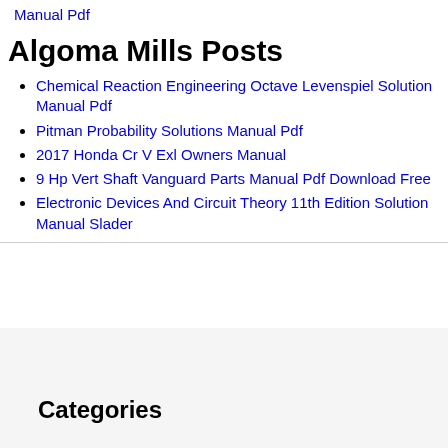Manual Pdf
Algoma Mills Posts
Chemical Reaction Engineering Octave Levenspiel Solution Manual Pdf
Pitman Probability Solutions Manual Pdf
2017 Honda Cr V Exl Owners Manual
9 Hp Vert Shaft Vanguard Parts Manual Pdf Download Free
Electronic Devices And Circuit Theory 11th Edition Solution Manual Slader
Categories